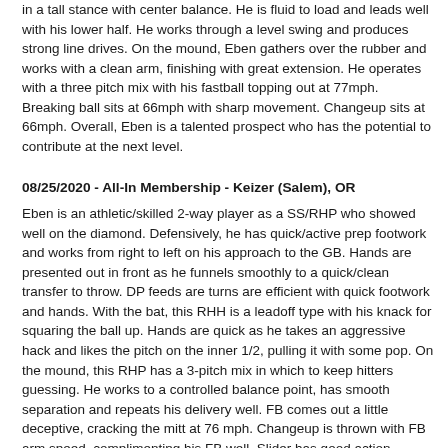in a tall stance with center balance. He is fluid to load and leads well with his lower half. He works through a level swing and produces strong line drives. On the mound, Eben gathers over the rubber and works with a clean arm, finishing with great extension. He operates with a three pitch mix with his fastball topping out at 77mph. Breaking ball sits at 66mph with sharp movement. Changeup sits at 66mph. Overall, Eben is a talented prospect who has the potential to contribute at the next level.
08/25/2020 - All-In Membership - Keizer (Salem), OR
Eben is an athletic/skilled 2-way player as a SS/RHP who showed well on the diamond. Defensively, he has quick/active prep footwork and works from right to left on his approach to the GB. Hands are presented out in front as he funnels smoothly to a quick/clean transfer to throw. DP feeds are turns are efficient with quick footwork and hands. With the bat, this RHH is a leadoff type with his knack for squaring the ball up. Hands are quick as he takes an aggressive hack and likes the pitch on the inner 1/2, pulling it with some pop. On the mound, this RHP has a 3-pitch mix in which to keep hitters guessing. He works to a controlled balance point, has smooth separation and repeats his delivery well. FB comes out a little deceptive, cracking the mitt at 76 mph. Changeup is thrown with FB arm speed, complimenting his FB well. Slider has good action, breaking with an 11/4...